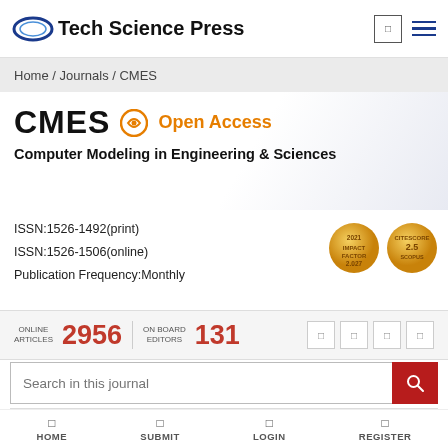Tech Science Press
Home / Journals / CMES
CMES  Open Access
Computer Modeling in Engineering & Sciences
ISSN:1526-1492(print)
ISSN:1526-1506(online)
Publication Frequency:Monthly
[Figure (other): Two gold medal badges: Impact Factor and CiteScore 2.5 Scopus]
ONLINE ARTICLES 2956  ON BOARD EDITORS 131
Search in this journal
[Figure (illustration): Book cover thumbnail showing geometric mesh illustration for Computer Modeling in Engineering & Sciences journal]
HOME  SUBMIT  LOGIN  REGISTER